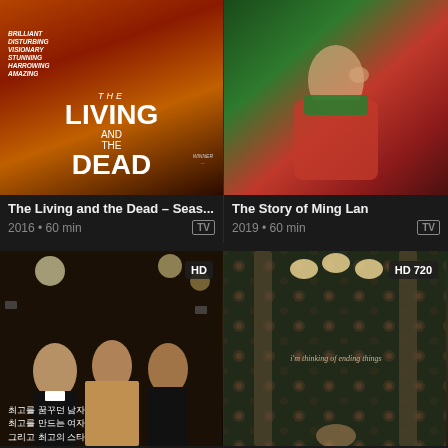[Figure (screenshot): Movie poster for The Living and the Dead with fiery orange-red background and white title text]
[Figure (screenshot): Movie/TV poster for The Story of Ming Lan showing actor in traditional Korean/Chinese costume in red and green]
The Living and the Dead – Seas...
2016 • 60 min  TV
The Story of Ming Lan
2019 • 60 min  TV
[Figure (screenshot): Korean movie poster showing three actors at a formal event, labeled HD]
[Figure (screenshot): Movie poster for 'I'm thinking of ending things' with floral wallpaper background, labeled HD 720]